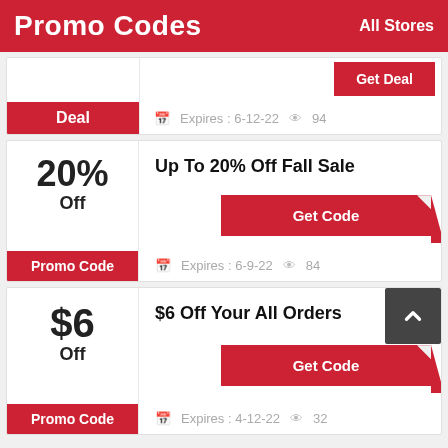Promo Codes   All Stores
Deal  Expires: 6-12-22  94
20% Off  Up To 20% Off Fall Sale  Promo Code  Get Code  Expires: 6-9-22  84
$6 Off  $6 Off Your All Orders  Promo Code  Get Code  Expires: 4-12-22  32